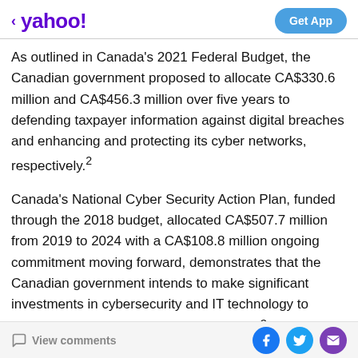< yahoo!  Get App
As outlined in Canada's 2021 Federal Budget, the Canadian government proposed to allocate CA$330.6 million and CA$456.3 million over five years to defending taxpayer information against digital breaches and enhancing and protecting its cyber networks, respectively.²
Canada's National Cyber Security Action Plan, funded through the 2018 budget, allocated CA$507.7 million from 2019 to 2024 with a CA$108.8 million ongoing commitment moving forward, demonstrates that the Canadian government intends to make significant investments in cybersecurity and IT technology to support the initiatives outlined in the plan.³
View comments